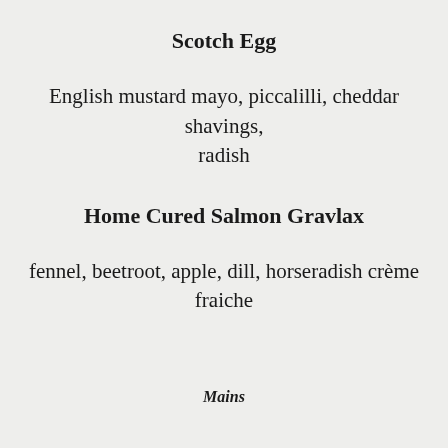Scotch Egg
English mustard mayo, piccalilli, cheddar shavings, radish
Home Cured Salmon Gravlax
fennel, beetroot, apple, dill, horseradish crème fraiche
Mains
Roasted Turkey Crown